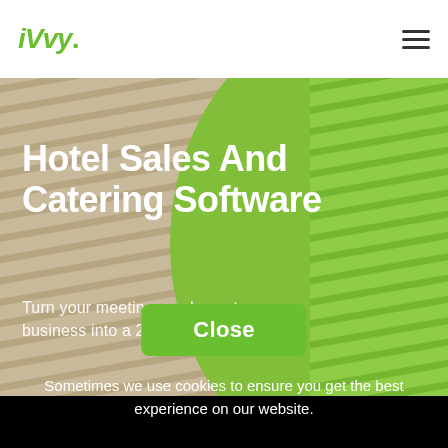iVvy.
[Figure (screenshot): Website header with iVvy logo on left and hamburger menu icon on right, over a hero background of tan/beige striped texture with a large green oval overlay and green striped texture on right half]
Hotel Sales And Catering Software
Turn your meetings and events business into a 24/7 sales machine
Close
Sometimes we use cookies to ensure you get the best experience on our website.